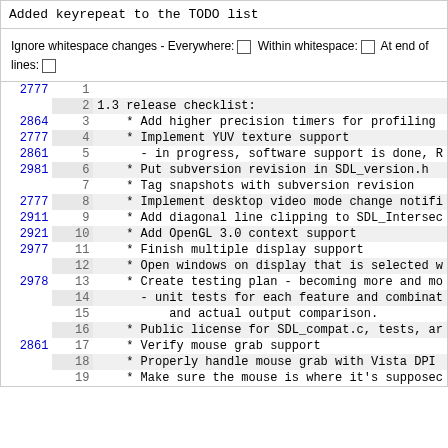Added keyrepeat to the TODO list
Ignore whitespace changes - Everywhere: □ Within whitespace: □ At end of lines: □
| rev | line | code |
| --- | --- | --- |
| 2777 | 1 |  |
|  | 2 | 1.3 release checklist: |
| 2864 | 3 |     * Add higher precision timers for profiling |
| 2777 | 4 |     * Implement YUV texture support |
| 2861 | 5 |       - in progress, software support is done, R |
| 2981 | 6 |     * Put subversion revision in SDL_version.h |
|  | 7 |     * Tag snapshots with subversion revision |
| 2777 | 8 |     * Implement desktop video mode change notifi |
| 2911 | 9 |     * Add diagonal line clipping to SDL_Intersec |
| 2921 | 10 |     * Add OpenGL 3.0 context support |
| 2977 | 11 |     * Finish multiple display support |
|  | 12 |     * Open windows on display that is selected w |
| 2978 | 13 |     * Create testing plan - becoming more and mo |
|  | 14 |       - unit tests for each feature and combinat |
|  | 15 |           and actual output comparison. |
|  | 16 |     * Public license for SDL_compat.c, tests, ar |
| 2861 | 17 |     * Verify mouse grab support |
|  | 18 |     * Properly handle mouse grab with Vista DPI |
|  | 19 |     * Make sure the mouse is where it's supposec |